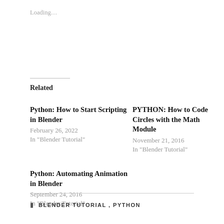Loading…
Related
Python: How to Start Scripting in Blender
February 26, 2022
In "Blender Tutorial"
PYTHON: How to Code Circles with the Math Module
November 21, 2016
In "Blender Tutorial"
Python: Automating Animation in Blender
September 24, 2016
In "Blender Tutorial"
BLENDER TUTORIAL , PYTHON